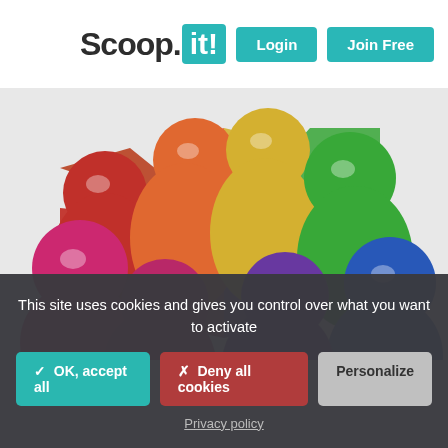[Figure (logo): Scoop.it logo with teal background on 'it!' portion, and Login and Join Free teal buttons in the header]
[Figure (illustration): 3D colorful figures (red, pink, orange, gold, green, blue, purple) standing in a circle hugging each other, rendered as glossy rounded person icons]
This site uses cookies and gives you control over what you want to activate
✓ OK, accept all
✗ Deny all cookies
Personalize
Privacy policy